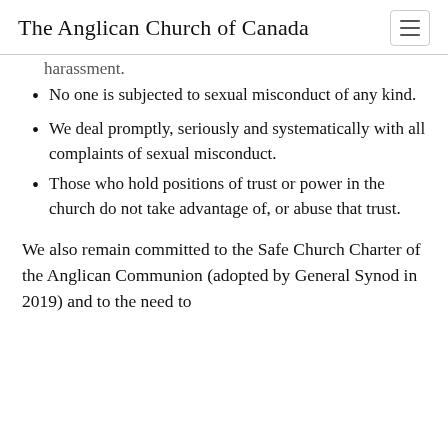The Anglican Church of Canada
harassment.
No one is subjected to sexual misconduct of any kind.
We deal promptly, seriously and systematically with all complaints of sexual misconduct.
Those who hold positions of trust or power in the church do not take advantage of, or abuse that trust.
We also remain committed to the Safe Church Charter of the Anglican Communion (adopted by General Synod in 2019) and to the need to continuously improve our own policies...